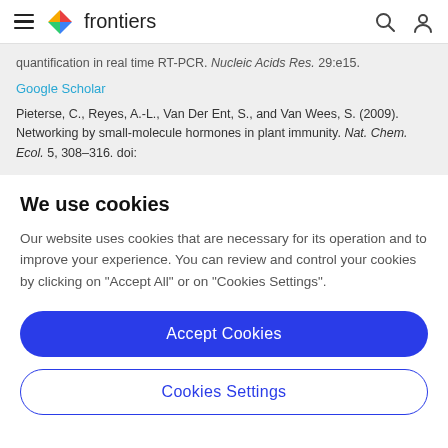frontiers
quantification in real time RT-PCR. Nucleic Acids Res. 29:e15.
Google Scholar
Pieterse, C., Reyes, A.-L., Van Der Ent, S., and Van Wees, S. (2009). Networking by small-molecule hormones in plant immunity. Nat. Chem. Ecol. 5, 308–316. doi:
We use cookies
Our website uses cookies that are necessary for its operation and to improve your experience. You can review and control your cookies by clicking on "Accept All" or on "Cookies Settings".
Accept Cookies
Cookies Settings